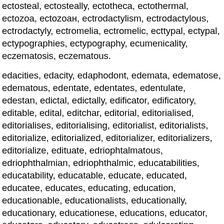ectosteal, ectosteally, ectotheca, ectothermal, ectozoa, ectozoan, ectrodactylism, ectrodactylous, ectrodactyly, ectromelia, ectromelic, ecttypal, ectypal, ectypographies, ectypography, ecumenicality, eczematosis, eczematous.
edacities, edacity, edaphodont, edemata, edematose, edematous, edentate, edentates, edentulate, edestan, edictal, edictally, edificator, edificatory, editable, edital, editchar, editorial, editorialised, editorialises, editorialising, editorialist, editorialists, editorialize, editorialized, editorializer, editorializers, editorialize, edituate, edriophtalmatous, edriophthalmian, edriophthalmic, educatabilities, educatability, educatable, educate, educated, educatee, educates, educating, education, educationable, educationalists, educationally, educationary, educationese, educations, educator, educators, educatory, educatress, edulcorating, edulcoration, edulcorations, edulcorator, edulcorator, edutainments.
eelboat, eelcatcher.
effacement, effacements, effascinate, effate, effatum, effectual, effectually, effectualness, effectualnesses, effectuate, effectuated, effectuations, effeminate, effeminated, effeminately, effeminating, effemination, effeminatize, effeminisation, effemination, effigiate, effigiated, effigiating, effigiation, effigurate, effiguration, effluviate, effoliate, efformation, effraction, effractor, effranchise.